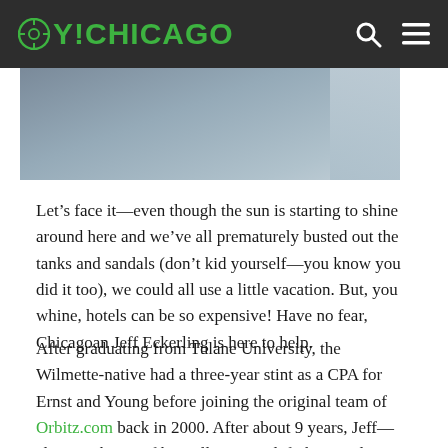OY!CHICAGO
[Figure (photo): Partial photo of people, cropped at top, showing a scene outdoors]
Let’s face it—even though the sun is starting to shine around here and we’ve all prematurely busted out the tanks and sandals (don’t kid yourself—you know you did it too), we could all use a little vacation. But, you whine, hotels can be so expensive! Have no fear, Chicagoan Jeff Eckerling is here to help.
After graduating from Tulane University, the Wilmette-native had a three-year stint as a CPA for Ernst and Young before joining the original team of Orbitz.com back in 2000. After about 9 years, Jeff—along with two of his colleagues—left the travel mega-